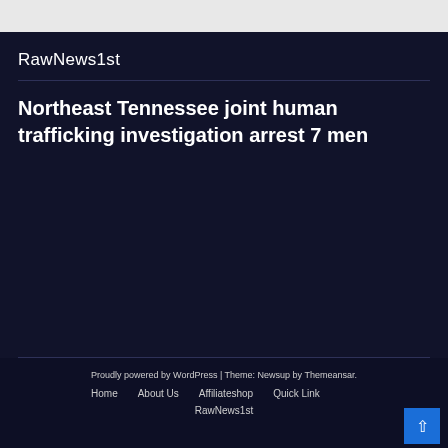RawNews1st
Northeast Tennessee joint human trafficking investigation arrest 7 men
Proudly powered by WordPress | Theme: Newsup by Themeansar.
Home   About Us   Affiliateshop   Quick Link
RawNews1st